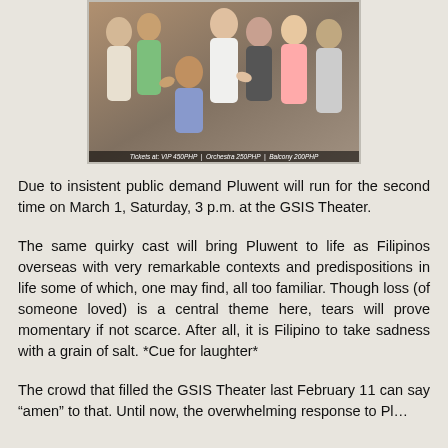[Figure (photo): Group photo of cast members posing together, with ticket price bar at bottom reading: Tickets at: VIP 450PHP | Orchestra 250PHP | Balcony 200PHP]
Due to insistent public demand Pluwent will run for the second time on March 1, Saturday, 3 p.m. at the GSIS Theater.
The same quirky cast will bring Pluwent to life as Filipinos overseas with very remarkable contexts and predispositions in life some of which, one may find, all too familiar. Though loss (of someone loved) is a central theme here, tears will prove momentary if not scarce. After all, it is Filipino to take sadness with a grain of salt. *Cue for laughter*
The crowd that filled the GSIS Theater last February 11 can say “amen” to that. Until now, the overwhelming response to Pl...